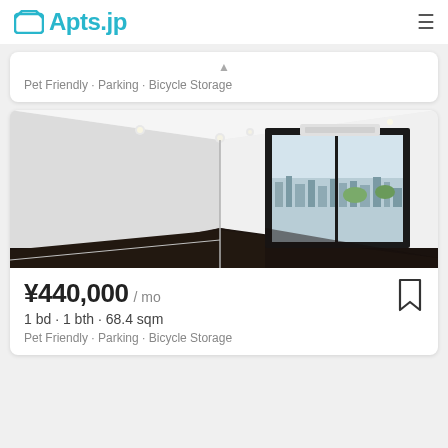Apts.jp
Pet Friendly · Parking · Bicycle Storage
[Figure (photo): Modern empty apartment room with dark hardwood floors, white walls, recessed lighting, and a large floor-to-ceiling window with city skyline view]
¥440,000 / mo
1 bd · 1 bth · 68.4 sqm
Pet Friendly · Parking · Bicycle Storage